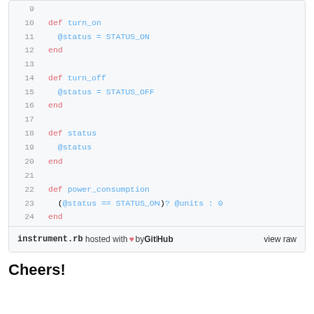[Figure (screenshot): Code block showing Ruby source code lines 9-25 of instrument.rb, with syntax highlighting. Keywords in red/pink, identifiers/values in blue. Footer shows 'instrument.rb hosted with heart by GitHub  view raw'.]
Cheers!